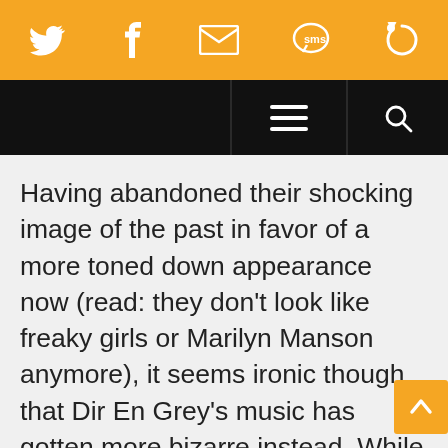[Social share toolbar: Twitter, Facebook, Email, SMS, Share icons]
[Figure (screenshot): Black navigation bar with hamburger menu icon and search icon]
Having abandoned their shocking image of the past in favor of a more toned down appearance now (read: they don’t look like freaky girls or Marilyn Manson anymore), it seems ironic though that Dir En Grey’s music has gotten more bizarre instead. While they started out as a Japanese visual-kei hard rock band with progressive influences, they hardly sound anything close to that now. Take the band’s latest music video for “Different Sense” for instance: Kyo sports black, short hair (you might be